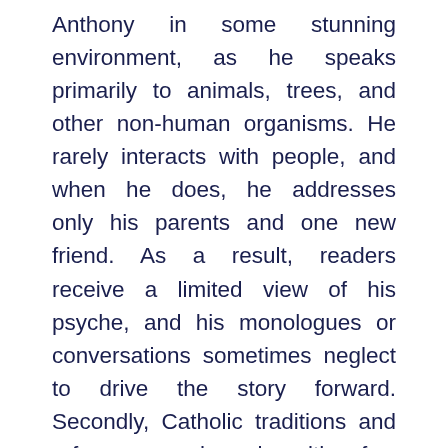Anthony in some stunning environment, as he speaks primarily to animals, trees, and other non-human organisms. He rarely interacts with people, and when he does, he addresses only his parents and one new friend. As a result, readers receive a limited view of his psyche, and his monologues or conversations sometimes neglect to drive the story forward. Secondly, Catholic traditions and references abound with few explanations. Much of the action concerns phenomena that only Catholics with knowledge of devotions would grasp. Since almost every significant event